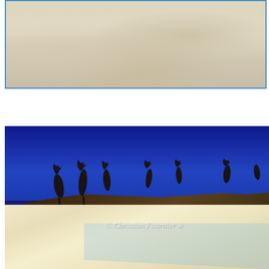[Figure (photo): Close-up photograph of sand texture, appearing pale beige/cream colored, with a blue border frame around it]
[Figure (photo): Beach scene photograph showing a deep blue sky, dark silhouetted trees and vegetation on a dune ridge, and white sandy beach with gentle water at lower right. Watermark reads '© Christian Fournier w']